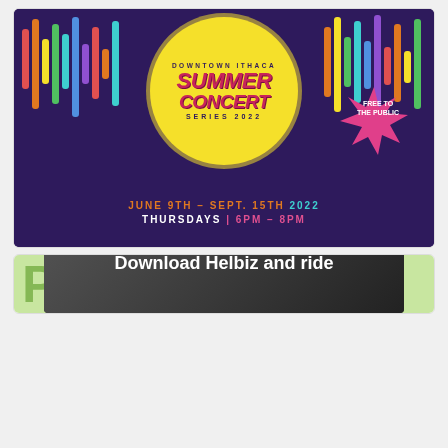[Figure (illustration): Downtown Ithaca Summer Concert Series 2022 promotional poster. Dark purple background with colorful vertical bar decorations (rainbow colored), a large yellow circle in the center containing text 'Downtown Ithaca Summer Concert Series 2022', a pink starburst shape on the right reading 'Free to the Public', and bottom text 'June 9th - Sept. 15th 2022 Thursdays | 6PM-8PM'.]
[Figure (illustration): PARD (Parks and Recreation Department) partial banner advertisement with light green background, large green letter P logo on left, dot pattern on right. Below it is a partially visible 'Download Helbiz and ride' advertisement showing an electric scooter.]